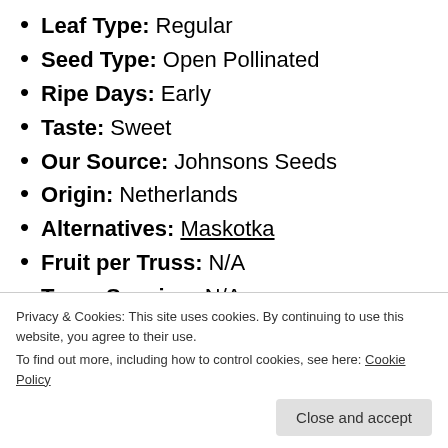Leaf Type: Regular
Seed Type: Open Pollinated
Ripe Days: Early
Taste: Sweet
Our Source: Johnsons Seeds
Origin: Netherlands
Alternatives: Maskotka
Fruit per Truss: N/A
Truss Spacing: N/A
Privacy & Cookies: This site uses cookies. By continuing to use this website, you agree to their use. To find out more, including how to control cookies, see here: Cookie Policy